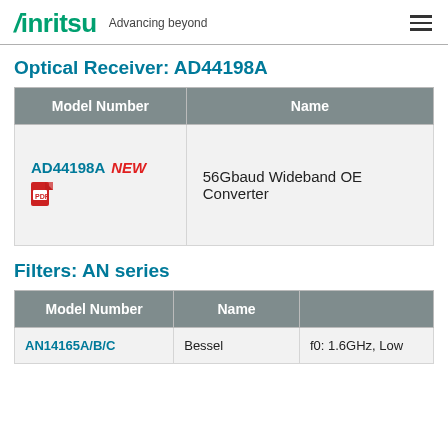Anritsu Advancing beyond
Optical Receiver: AD44198A
| Model Number | Name |
| --- | --- |
| AD44198A NEW [PDF] | 56Gbaud Wideband OE Converter |
Filters: AN series
| Model Number | Name |  |
| --- | --- | --- |
| AN14165A/B/C | Bessel | f0: 1.6GHz, Low... |